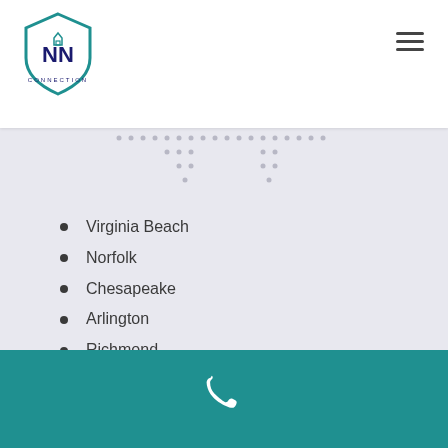NN Connection logo and navigation
[Figure (logo): NN Connection shield logo with teal outline and dark blue NN text]
Virginia Beach
Norfolk
Chesapeake
Arlington
Richmond
Newport News
Alexandria
Hampton
Phone contact bar